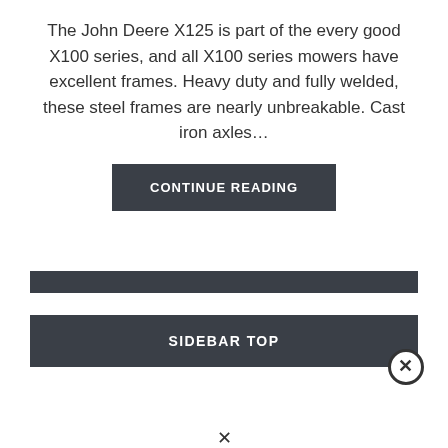The John Deere X125 is part of the every good X100 series, and all X100 series mowers have excellent frames. Heavy duty and fully welded, these steel frames are nearly unbreakable. Cast iron axles…
CONTINUE READING
SIDEBAR TOP
×